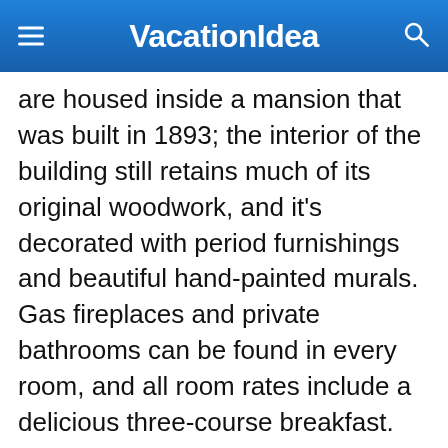VacationIdea
are housed inside a mansion that was built in 1893; the interior of the building still retains much of its original woodwork, and it's decorated with period furnishings and beautiful hand-painted murals. Gas fireplaces and private bathrooms can be found in every room, and all room rates include a delicious three-course breakfast. An afternoon tea service and bedtime hot chocolate are offered to guests free of charge as well.
100 Main St, Hyde Park, VT 05655, Phone: 802-